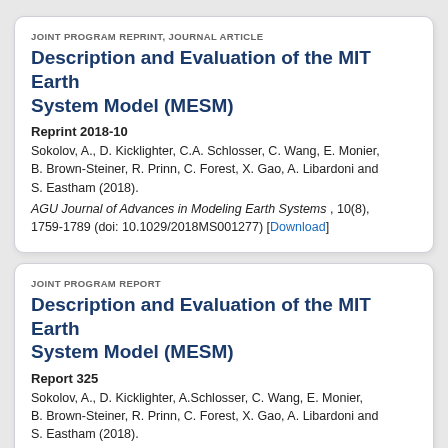JOINT PROGRAM REPRINT, JOURNAL ARTICLE
Description and Evaluation of the MIT Earth System Model (MESM)
Reprint 2018-10
Sokolov, A., D. Kicklighter, C.A. Schlosser, C. Wang, E. Monier, B. Brown-Steiner, R. Prinn, C. Forest, X. Gao, A. Libardoni and S. Eastham (2018).
AGU Journal of Advances in Modeling Earth Systems , 10(8), 1759-1789 (doi: 10.1029/2018MS001277) [Download]
JOINT PROGRAM REPORT
Description and Evaluation of the MIT Earth System Model (MESM)
Report 325
Sokolov, A., D. Kicklighter, A.Schlosser, C. Wang, E. Monier, B. Brown-Steiner, R. Prinn, C. Forest, X. Gao, A. Libardoni and S. Eastham (2018).
Joint Program Report Series, February, 30 p. [Download]